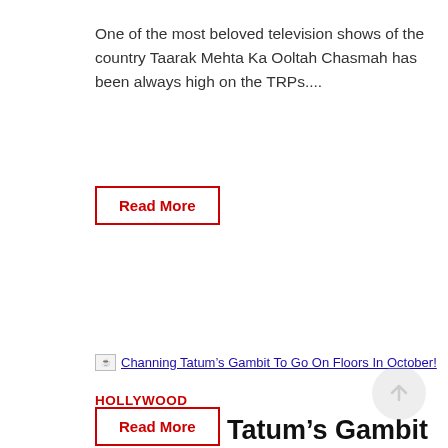One of the most beloved television shows of the country Taarak Mehta Ka Ooltah Chasmah has been always high on the TRPs....
Read More
[Figure (other): Broken image placeholder with link: Channing Tatum's Gambit To Go On Floors In October!]
HOLLYWOOD
Channing Tatum's Gambit To Go On Floors In October!
BusinessofCinema News Network  2015/07/28  0 Comment
Heartthrob Channing Tatum who impressed everyone with Magic Mike XXL is all ready to show off his skills in the spin off to X-Men, Gambit. ...